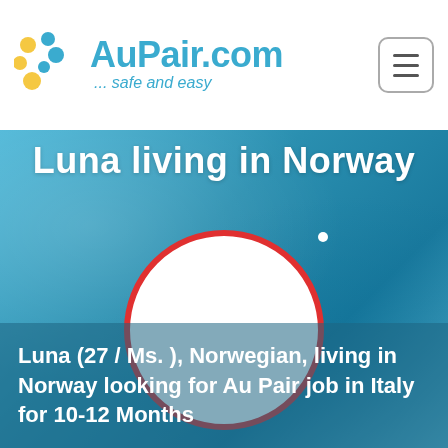[Figure (logo): AuPair.com logo with colorful dots and text '... safe and easy']
Luna living in Norway
[Figure (photo): Profile photo placeholder — white circle with red border on blurred blue background]
Luna (27 / Ms. ), Norwegian, living in Norway looking for Au Pair job in Italy for 10-12 Months